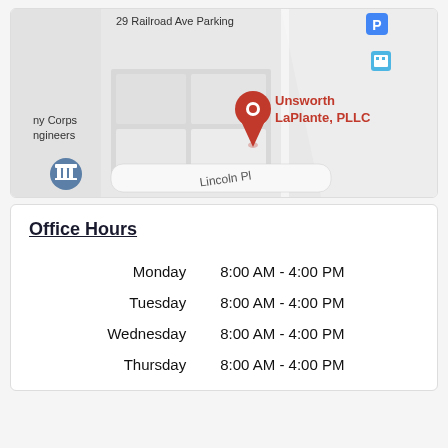[Figure (map): Google Maps screenshot showing location of Unsworth LaPlante, PLLC with a red map pin marker. Street labels show '29 Railroad Ave Parking', 'ny Corps ngineers', and 'Lincoln Pl'. A parking icon and transit icon are visible.]
Office Hours
| Day | Hours |
| --- | --- |
| Monday | 8:00 AM - 4:00 PM |
| Tuesday | 8:00 AM - 4:00 PM |
| Wednesday | 8:00 AM - 4:00 PM |
| Thursday | 8:00 AM - 4:00 PM |